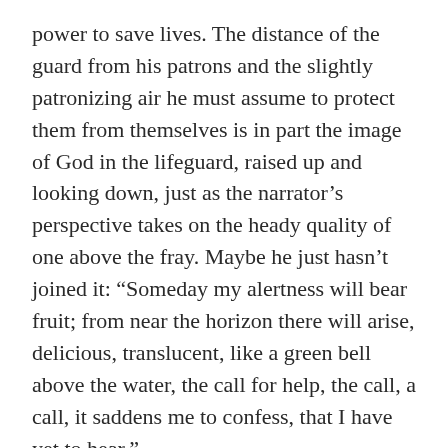power to save lives. The distance of the guard from his patrons and the slightly patronizing air he must assume to protect them from themselves is in part the image of God in the lifeguard, raised up and looking down, just as the narrator’s perspective takes on the heady quality of one above the fray. Maybe he just hasn’t joined it: “Someday my alertness will bear fruit; from near the horizon there will arise, delicious, translucent, like a green bell above the water, the call for help, the call, a call, it saddens me to confess, that I have yet to hear.”
Is there any point in summarizing the short story? It’s five pages, and in explicating its beauty I destroy it, like stepping on the flower I mean to pick. “Lifeguard” might answer that “Swimming offers a parable. We struggle and thrash, and drown; we succumb, even in despair, and float, and are saved.” We thrash to describe what we